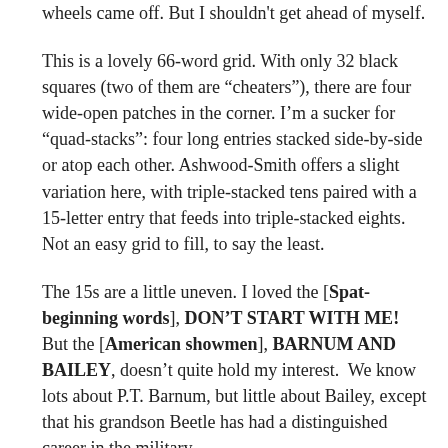wheels came off.  But I shouldn't get ahead of myself.
This is a lovely 66-word grid. With only 32 black squares (two of them are “cheaters”), there are four wide-open patches in the corner. I’m a sucker for “quad-stacks”: four long entries stacked side-by-side or atop each other. Ashwood-Smith offers a slight variation here, with triple-stacked tens paired with a 15-letter entry that feeds into triple-stacked eights.   Not an easy grid to fill, to say the least.
The 15s are a little uneven. I loved the [Spat-beginning words], DON’T START WITH ME! But the [American showmen], BARNUM AND BAILEY, doesn’t quite hold my interest.  We know lots about P.T. Barnum, but little about Bailey, except that his grandson Beetle has had a distinguished career in the military.
The tens themselves are fine, though only